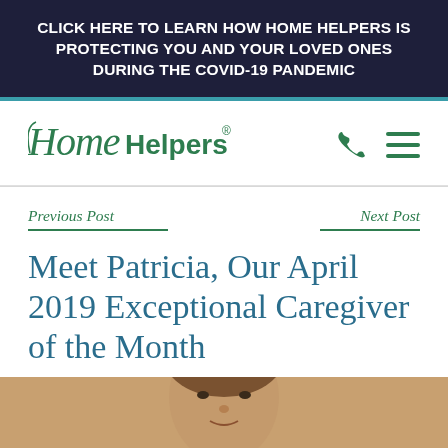CLICK HERE TO LEARN HOW HOME HELPERS IS PROTECTING YOU AND YOUR LOVED ONES DURING THE COVID-19 PANDEMIC
[Figure (logo): Home Helpers logo in green script and serif font]
Previous Post
Next Post
Meet Patricia, Our April 2019 Exceptional Caregiver of the Month
[Figure (photo): Photo of Patricia, the April 2019 Exceptional Caregiver of the Month, showing her face and upper body]